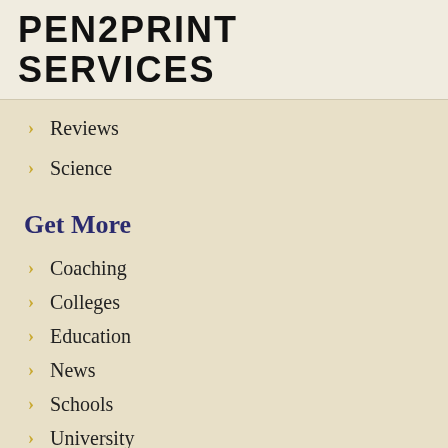PEN2PRINT SERVICES
Reviews
Science
Get More
Coaching
Colleges
Education
News
Schools
University